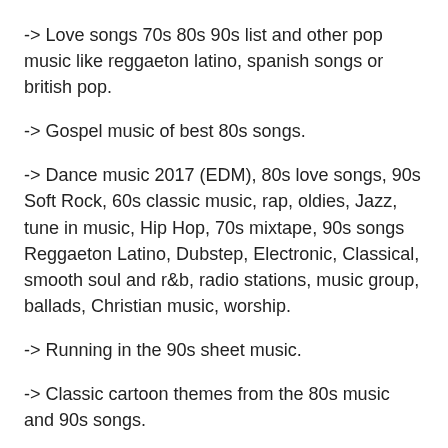-> Love songs 70s 80s 90s list and other pop music like reggaeton latino, spanish songs or british pop.
-> Gospel music of best 80s songs.
-> Dance music 2017 (EDM), 80s love songs, 90s Soft Rock, 60s classic music, rap, oldies, Jazz, tune in music, Hip Hop, 70s mixtape, 90s songs Reggaeton Latino, Dubstep, Electronic, Classical, smooth soul and r&b, radio stations, music group, ballads, Christian music, worship.
-> Running in the 90s sheet music.
-> Classic cartoon themes from the 80s music and 90s songs.
-> Best 2000s music hip hop, 90s songs pop, soft rock of the 70s music and 80s, smooth soul and r&b of the 70s 80s